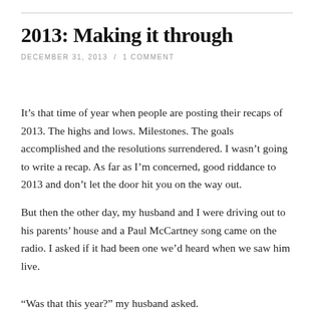2013: Making it through
DECEMBER 31, 2013  /  1 COMMENT
It’s that time of year when people are posting their recaps of 2013. The highs and lows. Milestones. The goals accomplished and the resolutions surrendered. I wasn’t going to write a recap. As far as I’m concerned, good riddance to 2013 and don’t let the door hit you on the way out.
But then the other day, my husband and I were driving out to his parents’ house and a Paul McCartney song came on the radio. I asked if it had been one we’d heard when we saw him live.
“Was that this year?” my husband asked.